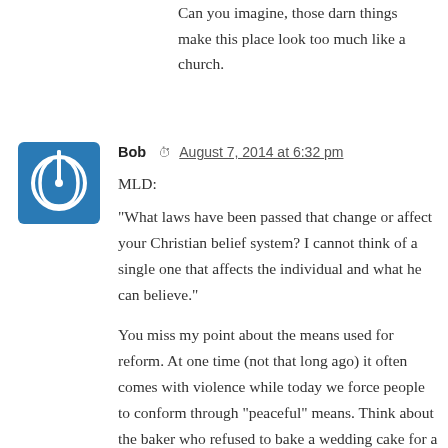Can you imagine, those darn things make this place look too much like a church.
Bob  August 7, 2014 at 6:32 pm
MLD:

"What laws have been passed that change or affect your Christian belief system? I cannot think of a single one that affects the individual and what he can believe."

You miss my point about the means used for reform. At one time (not that long ago) it often comes with violence while today we force people to conform through "peaceful" means. Think about the baker who refused to bake a wedding cake for a gay wedding and, BTW, lost in court. You could say it didn't effect what you believed but it certainly changes the behavior of people as they attempt to avoid a similar situation.

Also you forget about the "slippery slope" and how little